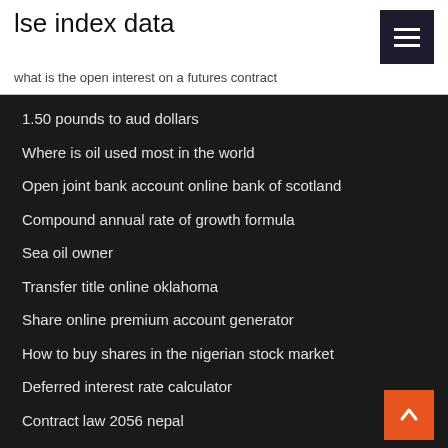lse index data
what is the open interest on a futures contract
1.50 pounds to aud dollars
Where is oil used most in the world
Open joint bank account online bank of scotland
Compound annual rate of growth formula
Sea oil owner
Transfer title online oklahoma
Share online premium account generator
How to buy shares in the nigerian stock market
Deferred interest rate calculator
Contract law 2056 nepal